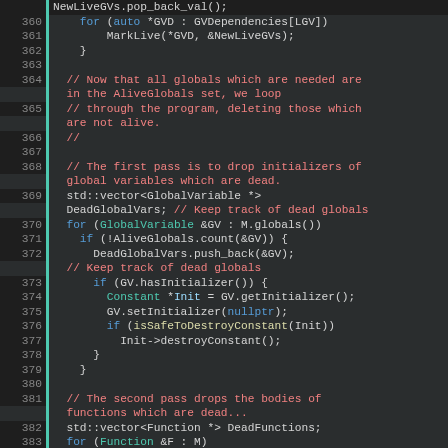[Figure (screenshot): Source code listing lines 360-386 of a C++ file implementing dead global variable and function elimination. Syntax highlighted with line numbers and green bar indicators. Background is dark IDE theme.]